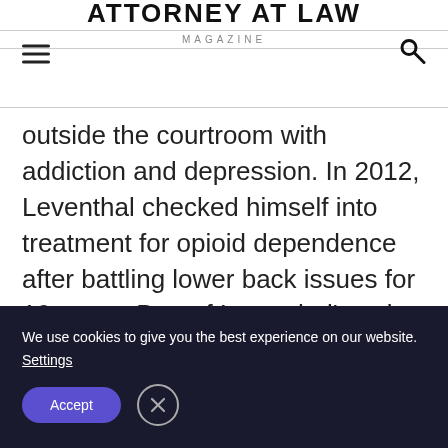ATTORNEY AT LAW MAGAZINE
outside the courtroom with addiction and depression. In 2012, Leventhal checked himself into treatment for opioid dependence after battling lower back issues for 10 years. Part of Leventhal’s pain was physical, he says, but much of it was emotional and directly tied to his dedication to criminal law.
We use cookies to give you the best experience on our website. Settings Accept